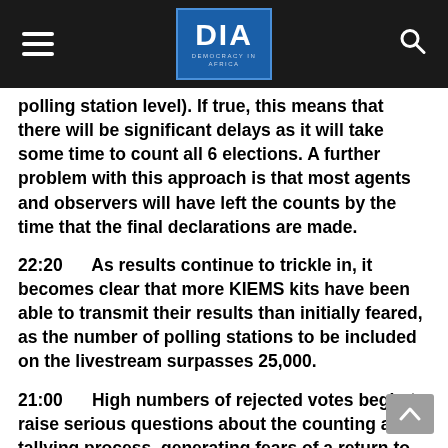DIA — Democracy in Africa
polling station level). If true, this means that there will be significant delays as it will take some time to count all 6 elections. A further problem with this approach is that most agents and observers will have left the counts by the time that the final declarations are made.
22:20    As results continue to trickle in, it becomes clear that more KIEMS kits have been able to transmit their results than initially feared, as the number of polling stations to be included on the livestream surpasses 25,000.
21:00    High numbers of rejected votes begin to raise serious questions about the counting and tallying process, generating fears of a return to the situation in